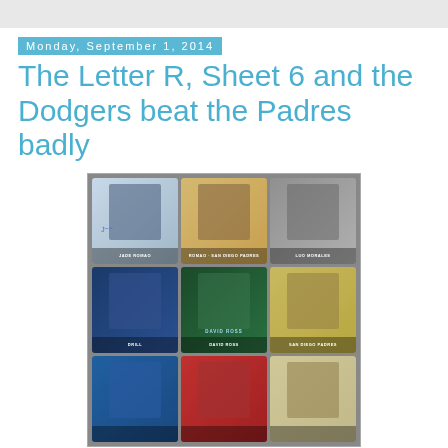Monday, September 1, 2014
The Letter R, Sheet 6 and the Dodgers beat the Padres badly
[Figure (photo): A 3x3 grid of baseball cards, showing various players including what appears to be San Diego Padres cards. Top row: autographed card with player #39, a vintage-style card labeled 'Romao' San Diego Padres pitcher, and a Bowman Chrome card. Middle row: a dark blue card with a circular portrait, a David Ross batting card, and a vintage yellow-jersey card. Bottom row: three more baseball cards partially visible.]